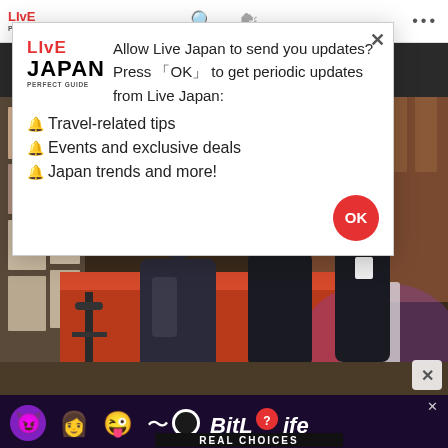LIVE JAPAN PERFECT GUIDE
[Figure (photo): Indoor venue or tourist information center with several people standing around a counter, colorful posters on walls, warm brown paneling, purple lighting in background]
Allow Live Japan to send you updates?Press 「OK」 to get periodic updates from Live Japan:
✓Travel-related tips
✓Events and exclusive deals
✓Japan trends and more!
[Figure (screenshot): BitLife advertisement banner with emoji characters and REAL CHOICES text on dark background]